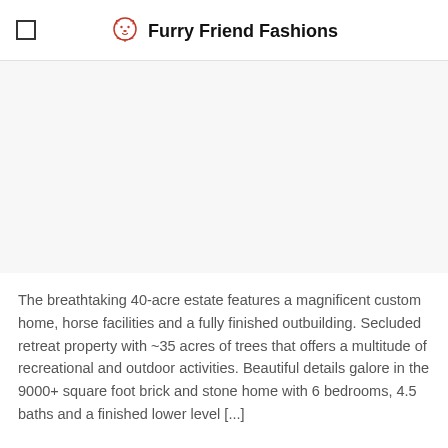Furry Friend Fashions
[Figure (photo): Large image area (appears blank/white in this view) — likely a property or estate photo]
The breathtaking 40-acre estate features a magnificent custom home, horse facilities and a fully finished outbuilding. Secluded retreat property with ~35 acres of trees that offers a multitude of recreational and outdoor activities. Beautiful details galore in the 9000+ square foot brick and stone home with 6 bedrooms, 4.5 baths and a finished lower level [...]